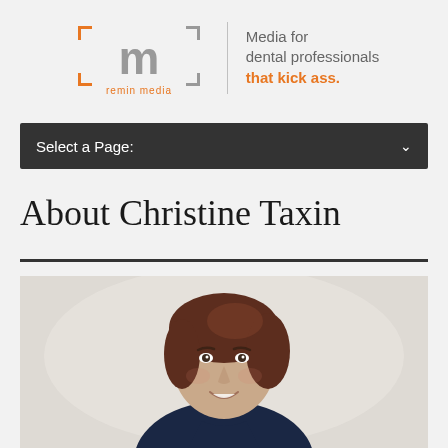[Figure (logo): Remin Media logo — stylized orange 'm' with bracket corners, text 'remin media' below]
Media for dental professionals that kick ass.
Select a Page:
About Christine Taxin
[Figure (photo): Professional headshot of Christine Taxin, a woman with short dark auburn hair, smiling, wearing a dark navy top, against a light neutral background]